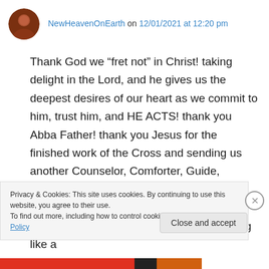NewHeavenOnEarth on 12/01/2021 at 12:20 pm
Thank God we “fret not” in Christ! taking delight in the Lord, and he gives us the deepest desires of our heart as we commit to him, trust him, and HE ACTS! thank you Abba Father! thank you Jesus for the finished work of the Cross and sending us another Counselor, Comforter, Guide, Teacher, Advocate, fiery Presence, Spirit of Truth and resurrection Life, the Holy Spirit and fire to be upon, with, within, and flowing like a
Privacy & Cookies: This site uses cookies. By continuing to use this website, you agree to their use.
To find out more, including how to control cookies, see here: Cookie Policy
Close and accept